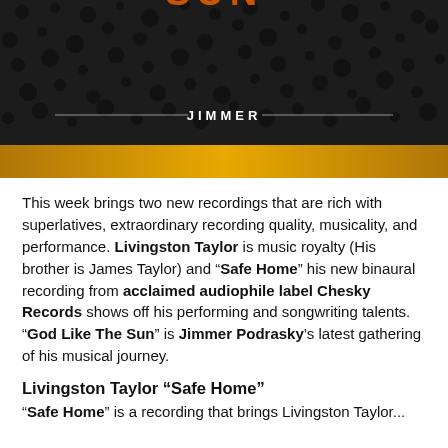[Figure (illustration): Album art showing dark textured background with spots/dots pattern, the word JIMMER in white text centered with decorative lines on either side, and a yellow/gold horizontal band across the bottom. Partial text 'SUN' visible at top in orange letters.]
This week brings two new recordings that are rich with superlatives, extraordinary recording quality, musicality, and performance. Livingston Taylor is music royalty (His brother is James Taylor) and "Safe Home" his new binaural recording from acclaimed audiophile label Chesky Records shows off his performing and songwriting talents. "God Like The Sun" is Jimmer Podrasky's latest gathering of his musical journey.
Livingston Taylor “Safe Home”
“Safe Home” is a recording that brings Livingston Taylor...